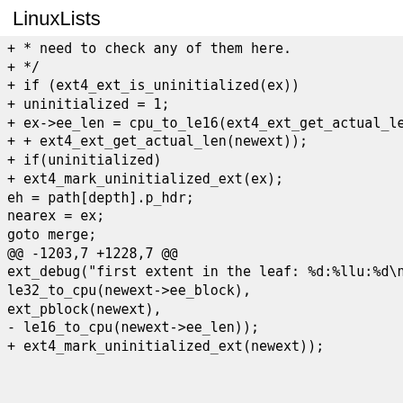LinuxLists
+ * need to check any of them here.
+ */
+ if (ext4_ext_is_uninitialized(ex))
+ uninitialized = 1;
+ ex->ee_len = cpu_to_le16(ext4_ext_get_actual_len(ex)
+ + ext4_ext_get_actual_len(newext));
+ if(uninitialized)
+ ext4_mark_uninitialized_ext(ex);
eh = path[depth].p_hdr;
nearex = ex;
goto merge;
@@ -1203,7 +1228,7 @@
ext_debug("first extent in the leaf: %d:%llu:%d\n",
le32_to_cpu(newext->ee_block),
ext_pblock(newext),
- le16_to_cpu(newext->ee_len));
+ ext4_mark_uninitialized_ext(newext));